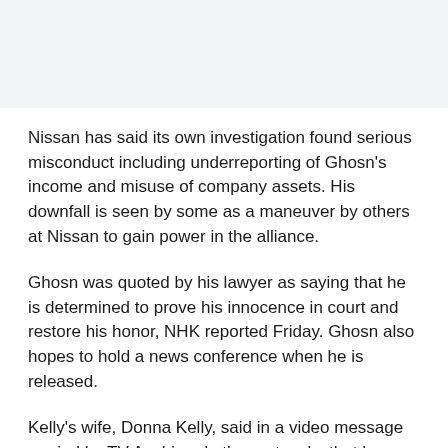[Figure (other): Gray/light blue banner area at top of page]
Nissan has said its own investigation found serious misconduct including underreporting of Ghosn's income and misuse of company assets. His downfall is seen by some as a maneuver by others at Nissan to gain power in the alliance.
Ghosn was quoted by his lawyer as saying that he is determined to prove his innocence in court and restore his honor, NHK reported Friday. Ghosn also hopes to hold a news conference when he is released.
Kelly's wife, Donna Kelly, said in a video message carried by TV Asahi and other networks that her husband was "wrongly accused as part of a power grab" at Nissan. "Greg and Mr. Ghosn fully believe that they did not break the law," she said.